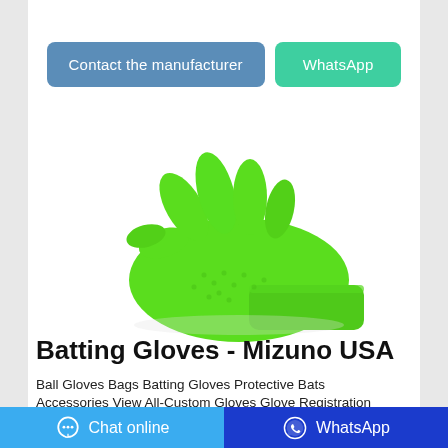[Figure (other): Two CTA buttons: 'Contact the manufacturer' (blue) and 'WhatsApp' (green)]
[Figure (photo): A bright green textured batting/protective glove shown palm-down on white background]
Batting Gloves - Mizuno USA
Ball Gloves Bags Batting Gloves Protective Bats Accessories View All-Custom Gloves Glove Registration
[Figure (other): Bottom bar with two buttons: 'Chat online' (light blue) and 'WhatsApp' (dark blue)]